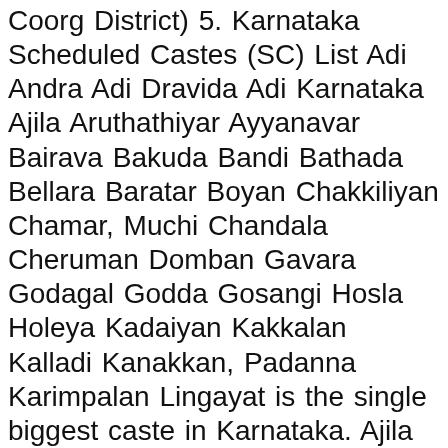Coorg District) 5. Karnataka Scheduled Castes (SC) List Adi Andra Adi Dravida Adi Karnataka Ajila Aruthathiyar Ayyanavar Bairava Bakuda Bandi Bathada Bellara Baratar Boyan Chakkiliyan Chamar, Muchi Chandala Cheruman Domban Gavara Godagal Godda Gosangi Hosla Holeya Kadaiyan Kakkalan Kalladi Kanakkan, Padanna Karimpalan Lingayat is the single biggest caste in Karnataka. Ajila 5. 10. ... buddhists were persecuted in India.Several prominent Buddhist monks and rulers may have shared their lineage with this caste before their subjugation. At home they mostly speak Telugu or ... Issue of Scheduled Caste Certificate to migrants from other States/UTs (size :3.85MB) . The Government of India recognises the socio-economically oppressed status of the Adi Karnataka by classifying them as a Scheduled Caste in modern India's system of positive discrimination, This article is about a social category. * Pray that God would create a hunger for His